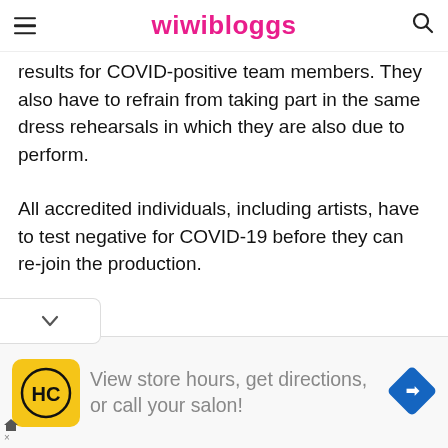wiwibloggs
results for COVID-positive team members. They also have to refrain from taking part in the same dress rehearsals in which they are also due to perform.
All accredited individuals, including artists, have to test negative for COVID-19 before they can re-join the production.
The delegations from Malta and Romania have not tested positive for COVID-19 and are not quarantining but, due to the fact they are staying in the same hotel as Poland and Iceland, did not take part in the Turquoise Carpet event and were also PCR tested as a safety precaution.
[Figure (other): Advertisement banner: HC logo (yellow circle with HC text), text 'View store hours, get directions, or call your salon!', navigation diamond icon on right]